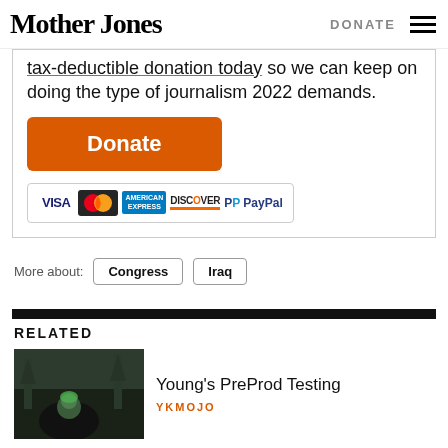Mother Jones | DONATE
tax-deductible donation today so we can keep on doing the type of journalism 2022 demands.
[Figure (other): Donate button (orange) with Visa, MasterCard, American Express, Discover, PayPal payment icons]
More about: Congress Iraq
RELATED
Young's PreProd Testing
YKMOJO